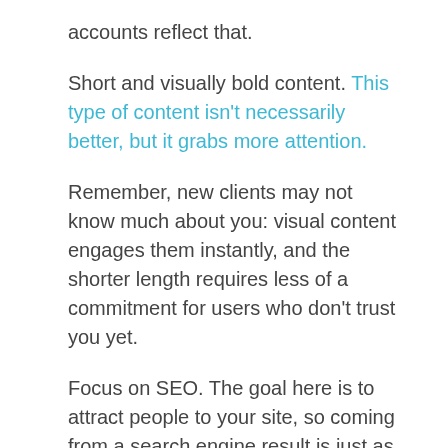accounts reflect that.
Short and visually bold content. This type of content isn't necessarily better, but it grabs more attention.
Remember, new clients may not know much about you: visual content engages them instantly, and the shorter length requires less of a commitment for users who don't trust you yet.
Focus on SEO. The goal here is to attract people to your site, so coming from a search engine result is just as effective as from social media or a friendly site.
Blogs are a great vehicle for SEO, and you